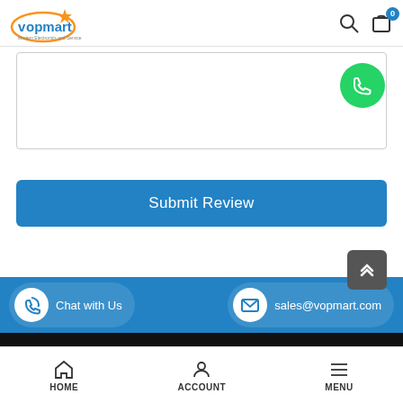[Figure (logo): Vopmart logo with orange oval and orange star, blue and orange text]
[Figure (other): WhatsApp green chat bubble icon, floating on right side of textarea]
[Figure (other): Textarea input field for review submission]
Submit Review
[Figure (other): Scroll-to-top dark grey button with chevron-up arrows]
Chat with Us
sales@vopmart.com
HOME
ACCOUNT
MENU